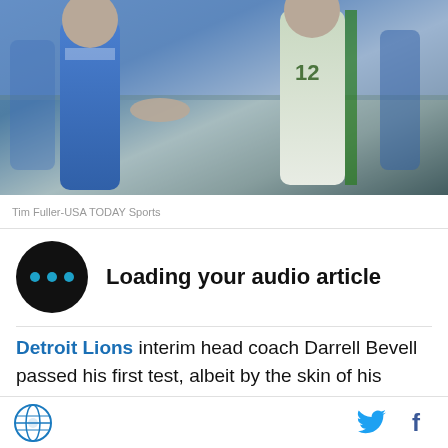[Figure (photo): Two football players on field, one in blue Lions uniform, one in green and white Packers uniform (#12)]
Tim Fuller-USA TODAY Sports
Loading your audio article
Detroit Lions interim head coach Darrell Bevell passed his first test, albeit by the skin of his teeth. Bevell was able to bring a level of success this Lions offense hasn't had in months, if not years, as the Detroit Lions slid by the failing Chicago Bears last
[Figure (logo): Site logo globe icon and social media icons (Twitter bird, Facebook f)]